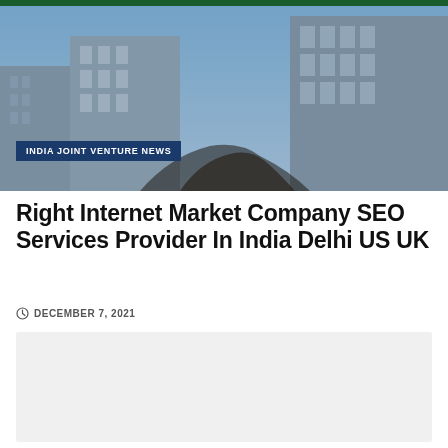[Figure (photo): Cityscape with skyscrapers and two people shaking hands in the foreground against a blue sky]
INDIA JOINT VENTURE NEWS
Right Internet Market Company SEO Services Provider In India Delhi US UK
DECEMBER 7, 2021
[Figure (other): Gray placeholder content box]